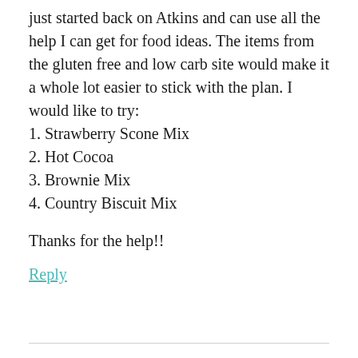just started back on Atkins and can use all the help I can get for food ideas. The items from the gluten free and low carb site would make it a whole lot easier to stick with the plan. I would like to try:
1. Strawberry Scone Mix
2. Hot Cocoa
3. Brownie Mix
4. Country Biscuit Mix
Thanks for the help!!
Reply